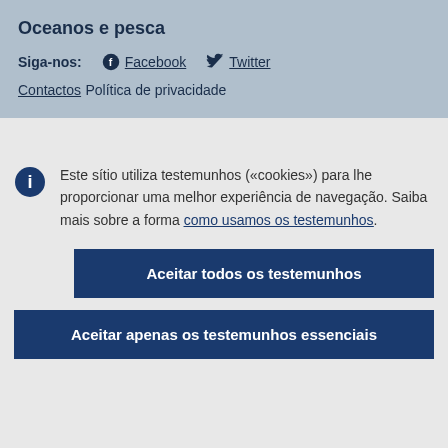Oceanos e pesca
Siga-nos: Facebook  Twitter
Contactos
Política de privacidade
Este sítio utiliza testemunhos («cookies») para lhe proporcionar uma melhor experiência de navegação. Saiba mais sobre a forma como usamos os testemunhos.
Aceitar todos os testemunhos
Aceitar apenas os testemunhos essenciais